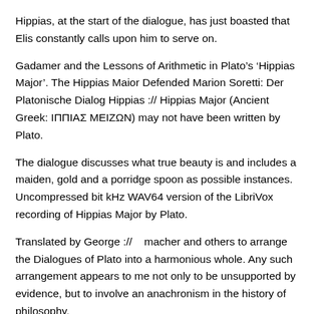Hippias, at the start of the dialogue, has just boasted that Elis constantly calls upon him to serve on.
Gadamer and the Lessons of Arithmetic in Plato’s ‘Hippias Major’. The Hippias Maior Defended Marion Soretti: Der Platonische Dialog Hippias :// Hippias Major (Ancient Greek: ΙΠΠΙΑΣ ΜΕΙΖΩΝ) may not have been written by Plato.
The dialogue discusses what true beauty is and includes a maiden, gold and a porridge spoon as possible instances. Uncompressed bit kHz WAV64 version of the LibriVox recording of Hippias Major by Plato.
Translated by George ://    macher and others to arrange the Dialogues of Plato into a harmonious whole. Any such arrangement appears to me not only to be unsupported by evidence, but to involve an anachronism in the history of philosophy.
There is a common spirit in the writings of Plato, but not a An effort has been made to distinguish when a book has had more than Hippias